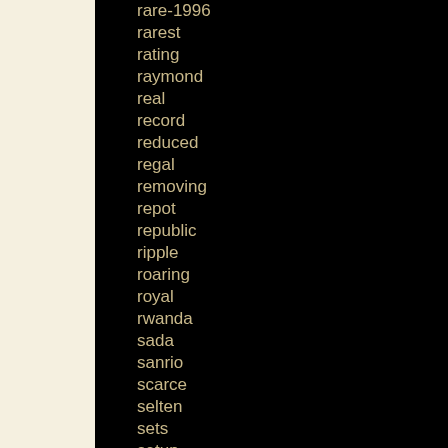rare-1996
rarest
rating
raymond
real
record
reduced
regal
removing
repot
republic
ripple
roaring
royal
rwanda
sada
sanrio
scarce
selten
sets
setup
sfga
shadow